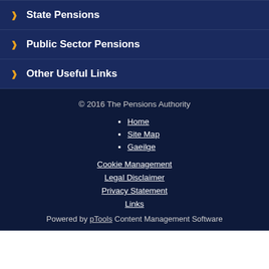State Pensions
Public Sector Pensions
Other Useful Links
© 2016 The Pensions Authority
Home
Site Map
Gaeilge
Cookie Management
Legal Disclaimer
Privacy Statement
Links
Powered by pTools Content Management Software